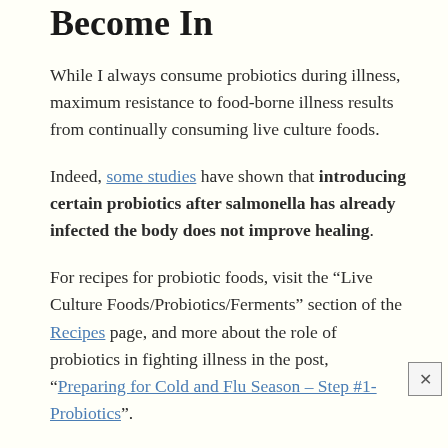Become In
While I always consume probiotics during illness, maximum resistance to food-borne illness results from continually consuming live culture foods.
Indeed, some studies have shown that introducing certain probiotics after salmonella has already infected the body does not improve healing.
For recipes for probiotic foods, visit the “Live Culture Foods/Probiotics/Ferments” section of the Recipes page, and more about the role of probiotics in fighting illness in the post, “Preparing for Cold and Flu Season – Step #1- Probiotics”.